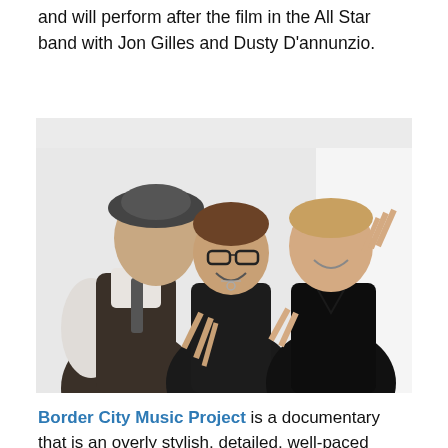and will perform after the film in the All Star band with Jon Gilles and Dusty D'annunzio.
[Figure (photo): Three people posing and smiling. Left person wearing a dark vest, white shirt and flat cap, leaning in. Middle person wearing glasses and black outfit, making a peace sign. Right person in black V-neck shirt, making a peace sign with both hands. Taken indoors near a bright window.]
Border City Music Project is a documentary that is an overly stylish, detailed, well-paced conversation about the state of our modern culture; the idea that it is more than just art on a wall or music in your speakers. Culture is how we value things. It is how we make our decisions. This film